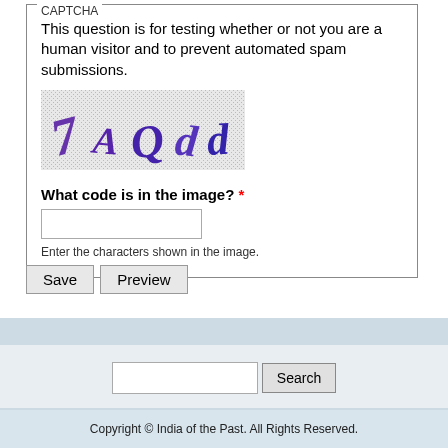CAPTCHA
This question is for testing whether or not you are a human visitor and to prevent automated spam submissions.
[Figure (other): CAPTCHA image showing distorted characters: 7 A Q d d on a noisy speckled background]
What code is in the image? *
Enter the characters shown in the image.
Save   Preview
Search
Copyright © India of the Past. All Rights Reserved.